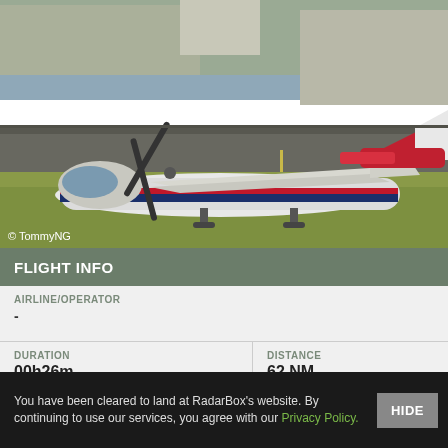[Figure (photo): A twin-engine propeller aircraft (white with blue and red stripe livery) taxiing on an airport tarmac. A red aircraft is visible in the background near a terminal building. Photo credit: © TommyNG]
© TommyNG
FLIGHT INFO
AIRLINE/OPERATOR
-
| DURATION | DISTANCE |
| --- | --- |
| 00h26m | 62 NM |
POSITION INFO
You have been cleared to land at RadarBox's website. By continuing to use our services, you agree with our Privacy Policy.